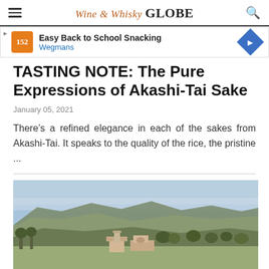Wine & Whisky GLOBE
[Figure (other): Advertisement banner: Easy Back to School Snacking - Wegmans]
TASTING NOTE: The Pure Expressions of Akashi-Tai Sake
January 05, 2021
There’s a refined elegance in each of the sakes from Akashi-Tai. It speaks to the quality of the rice, the pristine ...
[Figure (photo): Aerial/landscape photo showing rolling hills, a blue sky, and buildings that appear to be a winery or estate in a valley]